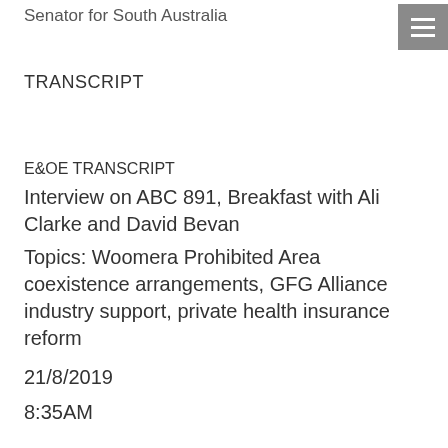Senator for South Australia
TRANSCRIPT
E&OE TRANSCRIPT
Interview on ABC 891, Breakfast with Ali Clarke and David Bevan
Topics: Woomera Prohibited Area coexistence arrangements, GFG Alliance industry support, private health insurance reform
21/8/2019
8:35AM